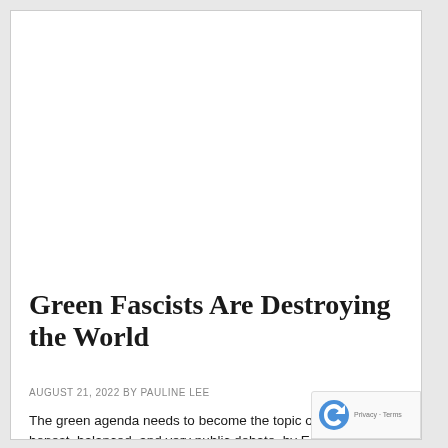[Figure (other): White blank image placeholder area at the top of the article page]
Green Fascists Are Destroying the World
AUGUST 21, 2022 BY PAULINE LEE
The green agenda needs to become the topic of op honest, balanced, and very public debate, by Edward